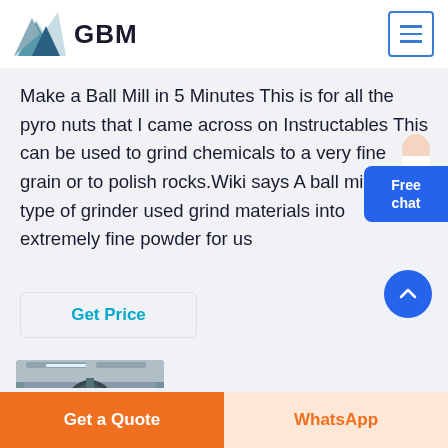GBM
Make a Ball Mill in 5 Minutes This is for all the pyro nuts that I came across on Instructables This can be used to grind chemicals to a very fine grain or to polish rocks.Wiki says A ball mill is a type of grinder used grind materials into extremely fine powder for us
Get Price
[Figure (photo): Industrial ball mill in a factory setting]
Alan Yates
Get a Quote
WhatsApp